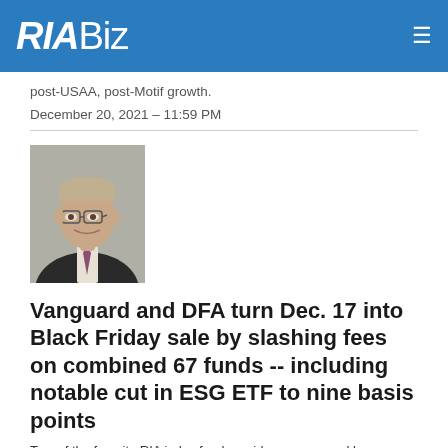RIABiz
post-USAA, post-Motif growth.
December 20, 2021 – 11:59 PM
[Figure (photo): Professional headshot of a middle-aged man in a dark suit with a purple tie, smiling, wearing glasses, grey background.]
Vanguard and DFA turn Dec. 17 into Black Friday sale by slashing fees on combined 67 funds -- including notable cut in ESG ETF to nine basis points
Two of the favorite RIA index fund providers announced b